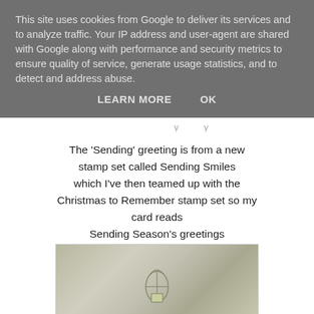This site uses cookies from Google to deliver its services and to analyze traffic. Your IP address and user-agent are shared with Google along with performance and security metrics to ensure quality of service, generate usage statistics, and to detect and address abuse.
LEARN MORE   OK
The 'Sending' greeting is from a new stamp set called Sending Smiles which I've then teamed up with the Christmas to Remember stamp set so my card reads Sending Season's greetings
[Figure (photo): A photo of a Christmas card or craft project on a white wooden surface, partially visible at the bottom of the page.]